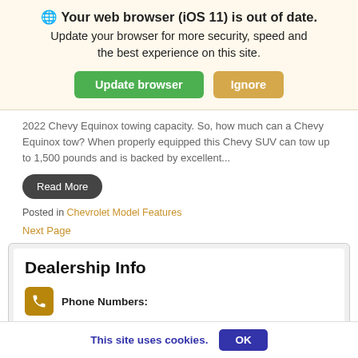🌐 Your web browser (iOS 11) is out of date. Update your browser for more security, speed and the best experience on this site.
Update browser | Ignore
2022 Chevy Equinox towing capacity. So, how much can a Chevy Equinox tow? When properly equipped this Chevy SUV can tow up to 1,500 pounds and is backed by excellent...
Read More
Posted in Chevrolet Model Features
Next Page
Dealership Info
Phone Numbers:
This site uses cookies. OK